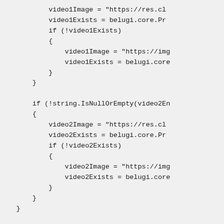video1Image = "https://res.cl
            video1Exists = belugi.core.Pr
            if (!video1Exists)
            {
                video1Image = "https://img
                video1Exists = belugi.core
            }
        }

        if (!string.IsNullOrEmpty(video2En
        {
            video2Image = "https://res.cl
            video2Exists = belugi.core.Pr
            if (!video2Exists)
            {
                video2Image = "https://img
                video2Exists = belugi.core
            }
        }
    }

    @if (video1Exists || video2Exists)
    {
        <div class="product-video clearfix